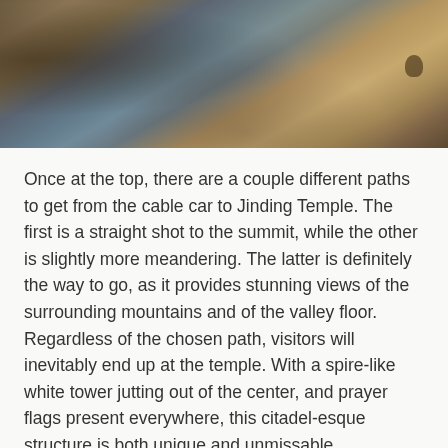[Figure (photo): Close-up photograph of rocky mountain surface with a dark stone or metal spire/pillar visible among tan and brown rocks]
Once at the top, there are a couple different paths to get from the cable car to Jinding Temple. The first is a straight shot to the summit, while the other is slightly more meandering. The latter is definitely the way to go, as it provides stunning views of the surrounding mountains and of the valley floor. Regardless of the chosen path, visitors will inevitably end up at the temple. With a spire-like white tower jutting out of the center, and prayer flags present everywhere, this citadel-esque structure is both unique and unmissable.
When I visited in 2013, there was a building housing the monk's quarters just outside of the temple. At the time, one could give a donation, and in return receive